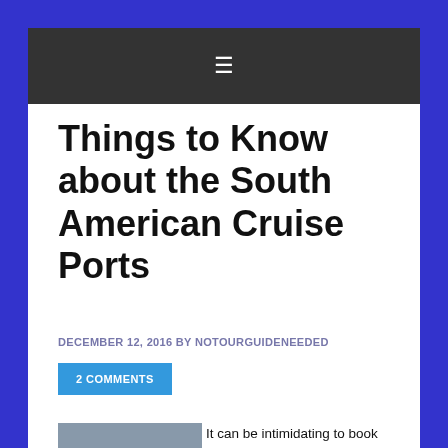☰
Things to Know about the South American Cruise Ports
DECEMBER 12, 2016 BY NOTOURGUIDENEEDED
2 COMMENTS
[Figure (photo): A colony of penguins gathered on rocky terrain]
It can be intimidating to book a cruise in another country, much less another continent.  We just got back from our South American Cruise and I have written up our experiences in each port to help